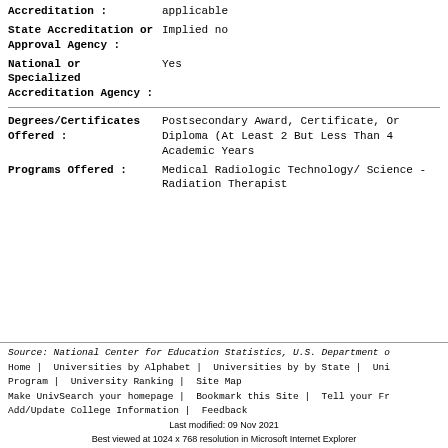Accreditation : applicable
State Accreditation or Approval Agency : Implied no
National or Specialized Accreditation Agency : Yes
Degrees/Certificates Offered : Postsecondary Award, Certificate, Or Diploma (At Least 2 But Less Than 4 Academic Years
Programs Offered : Medical Radiologic Technology/ Science - Radiation Therapist
Source: National Center for Education Statistics, U.S. Department o
Home | Universities by Alphabet | Universities by by State | Uni Program | University Ranking | Site Map
Make UnivSearch your homepage | Bookmark this Site | Tell your Fr
Add/Update College Information | Feedback
Last modified: 09 Nov 2021
Best viewed at 1024 x 768 resolution in Microsoft Internet Explorer